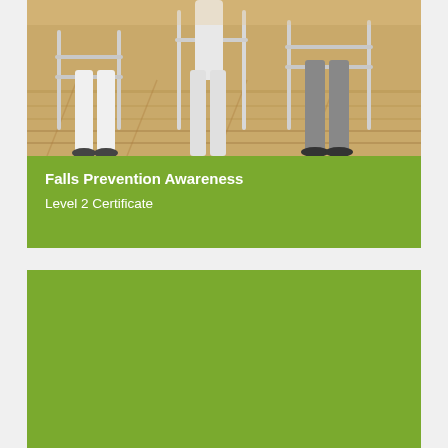[Figure (photo): Photo of people using walking/mobility frames on a wooden floor, showing legs and lower bodies with chrome walking aids]
Falls Prevention Awareness
Level 2 Certificate
[Figure (other): Solid olive/lime green rectangle block at bottom of page]